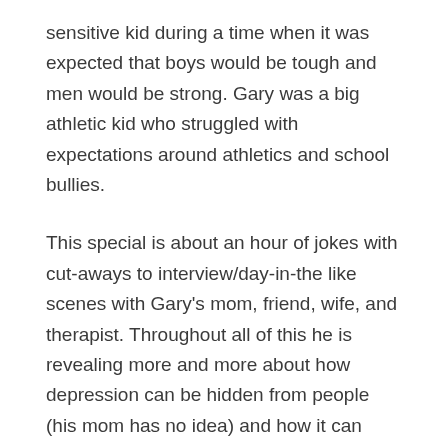sensitive kid during a time when it was expected that boys would be tough and men would be strong. Gary was a big athletic kid who struggled with expectations around athletics and school bullies.
This special is about an hour of jokes with cut-aways to interview/day-in-the like scenes with Gary's mom, friend, wife, and therapist. Throughout all of this he is revealing more and more about how depression can be hidden from people (his mom has no idea) and how it can affect the people around you. One of the most powerful moments is when he is talking about Sadé, his wife, and how she was the real hero of his story. She walked with him through some very tough years.
As a child of the 80's I found myself relating to Gary's talking about loneliness, pressure to be a certain kind of...